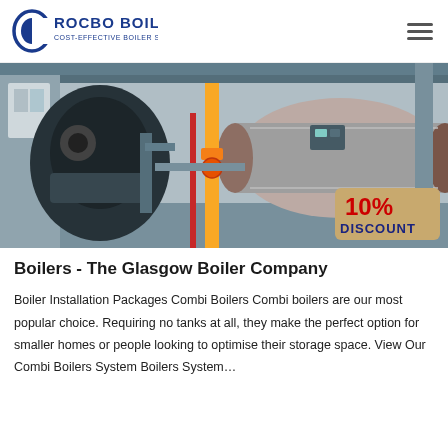ROCBO BOILER — COST-EFFECTIVE BOILER SUPPLIER
[Figure (photo): Industrial boilers in a factory/warehouse setting. Large dark blue/black burner unit on the left and a large cylindrical gray tank on the right, connected by yellow and red pipes. A '10% DISCOUNT' badge overlaid in the bottom right corner.]
Boilers - The Glasgow Boiler Company
Boiler Installation Packages Combi Boilers Combi boilers are our most popular choice. Requiring no tanks at all, they make the perfect option for smaller homes or people looking to optimise their storage space. View Our Combi Boilers System Boilers System…